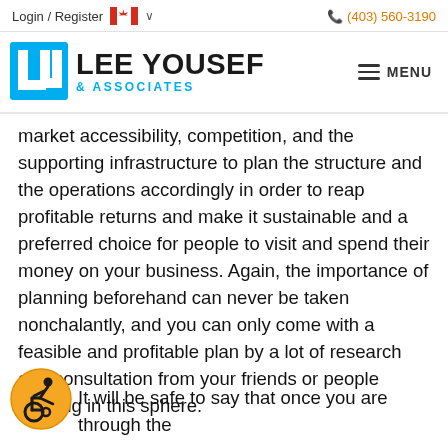Login / Register  🇨🇦 ∨   (403) 560-3190
[Figure (logo): Lee Yousef & Associates logo with blue LY icon and company name]
market accessibility, competition, and the supporting infrastructure to plan the structure and the operations accordingly in order to reap profitable returns and make it sustainable and a preferred choice for people to visit and spend their money on your business. Again, the importance of planning beforehand can never be taken nonchalantly, and you can only come with a feasible and profitable plan by a lot of research and consultation from your friends or people working in this sphere.
[Figure (illustration): Orange circle accessibility icon showing wheelchair user]
It will be safe to say that once you are through the